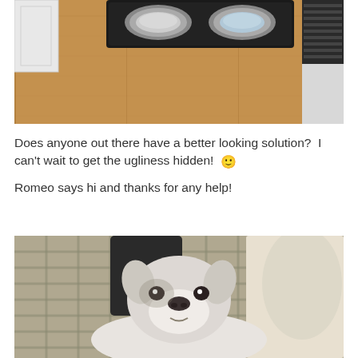[Figure (photo): Photo of a kitchen floor area with a black rubber mat holding two stainless steel pet food/water bowls, near white cabinetry and a baseboard vent. Hardwood-style laminate flooring.]
Does anyone out there have a better looking solution?  I can't wait to get the ugliness hidden!  🙂
Romeo says hi and thanks for any help!
[Figure (photo): Photo of a white dog (Romeo) lying on a plaid/checked blanket or couch, looking at the camera. A dark object is visible behind the dog.]